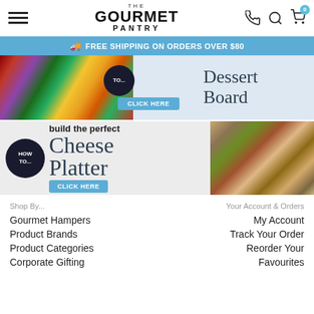THE GOURMET PANTRY
FREE SHIPPING ON ORDERS OVER $80
[Figure (screenshot): Dessert Board promotional banner with fruit and chocolate imagery and 'CLICK HERE' button]
[Figure (screenshot): HOW TO build the perfect Cheese Platter promotional banner with charcuterie board photo and 'CLICK HERE' button]
Shop By...
Your Account & Orders
Gourmet Hampers
My Account
Product Brands
Track Your Order
Product Categories
Reorder Your Favourites
Corporate Gifting